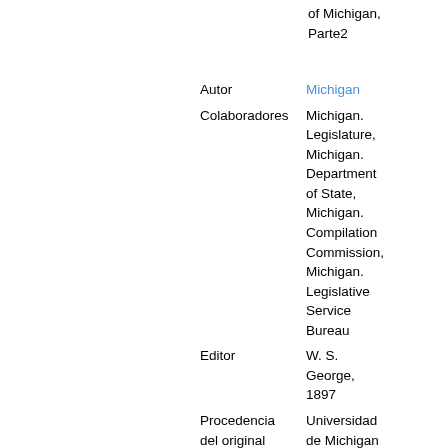of Michigan, Parte2
Autor: Michigan
Colaboradores: Michigan. Legislature, Michigan. Department of State, Michigan. Compilation Commission, Michigan. Legislative Service Bureau
Editor: W. S. George, 1897
Procedencia del original: Universidad de Michigan
Digitalizado: 21 Sep. 2005